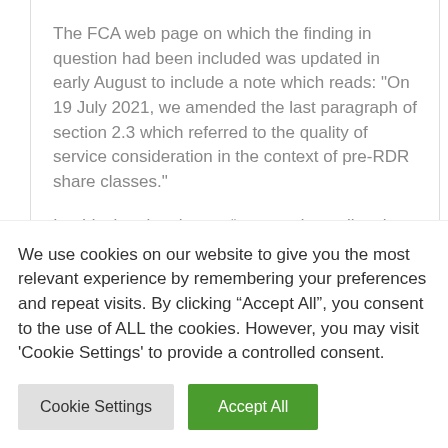The FCA web page on which the finding in question had been included was updated in early August to include a note which reads: "On 19 July 2021, we amended the last paragraph of section 2.3 which referred to the quality of service consideration in the context of pre-RDR share classes."
It adds that the change “was made to align the text more closely to the assessment of value review
We use cookies on our website to give you the most relevant experience by remembering your preferences and repeat visits. By clicking “Accept All”, you consent to the use of ALL the cookies. However, you may visit 'Cookie Settings' to provide a controlled consent.